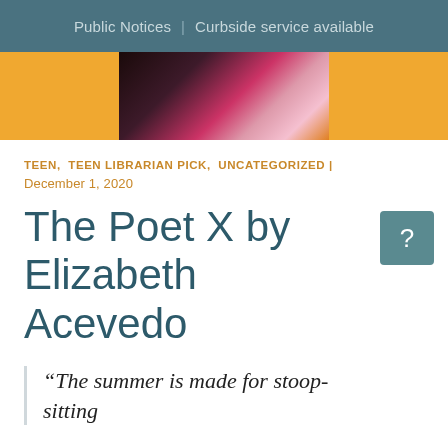Public Notices | Curbside service available
[Figure (photo): Orange background with a dark floral/explosion image in the center — partial view of a book cover]
TEEN, TEEN LIBRARIAN PICK, UNCATEGORIZED | December 1, 2020
The Poet X by Elizabeth Acevedo
“The summer is made for stoop-sitting